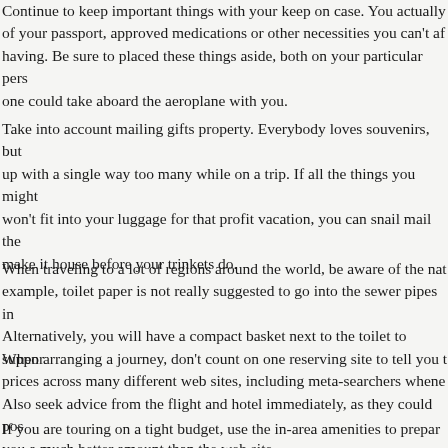Continue to keep important things with your keep on case. You actually of your passport, approved medications or other necessities you can't af having. Be sure to placed these things aside, both on your particular pers one could take aboard the aeroplane with you.
Take into account mailing gifts property. Everybody loves souvenirs, but up with a single way too many while on a trip. If all the things you might won't fit into your luggage for that profit vacation, you can snail mail the make it house before your trinkets do.
When traveling to a lot of regions around the world, be aware of the nat example, toilet paper is not really suggested to go into the sewer pipes in Alternatively, you will have a compact basket next to the toilet to suppor
When arranging a journey, don't count on one reserving site to tell you t prices across many different web sites, including meta-searchers whene Also seek advice from the flight and hotel immediately, as they could pos you a much better amount than the web site.
If you are touring on a tight budget, use the in-area amenities to prepar